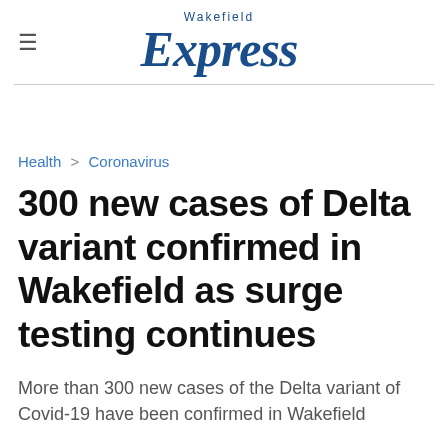Wakefield Express
Health > Coronavirus
300 new cases of Delta variant confirmed in Wakefield as surge testing continues
More than 300 new cases of the Delta variant of Covid-19 have been confirmed in Wakefield